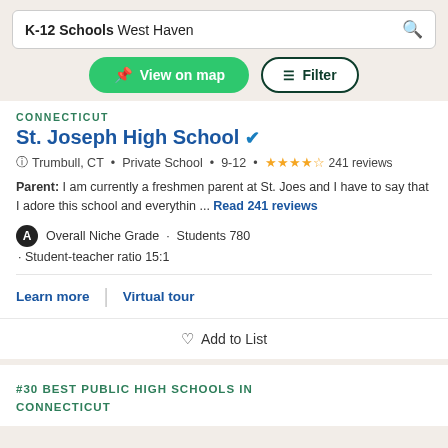K-12 Schools West Haven
[Figure (screenshot): View on map button (green, rounded) and Filter button (outlined, dark green)]
CONNECTICUT
St. Joseph High School (verified badge)
Trumbull, CT · Private School · 9-12 · ★★★★½ 241 reviews
Parent: I am currently a freshmen parent at St. Joes and I have to say that I adore this school and everythin … Read 241 reviews
A Overall Niche Grade · Students 780
· Student-teacher ratio 15:1
Learn more | Virtual tour
♡ Add to List
#30 BEST PUBLIC HIGH SCHOOLS IN CONNECTICUT